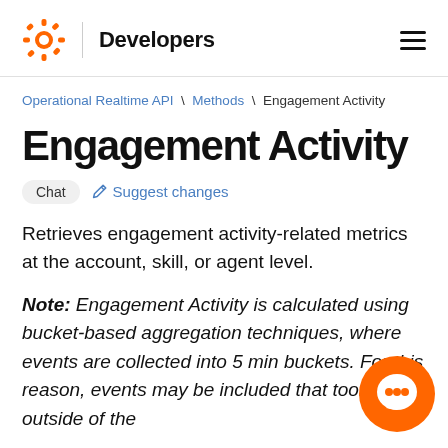Developers
Operational Realtime API \ Methods \ Engagement Activity
Engagement Activity
Chat  Suggest changes
Retrieves engagement activity-related metrics at the account, skill, or agent level.
Note: Engagement Activity is calculated using bucket-based aggregation techniques, where events are collected into 5 min buckets. For this reason, events may be included that took place outside of the